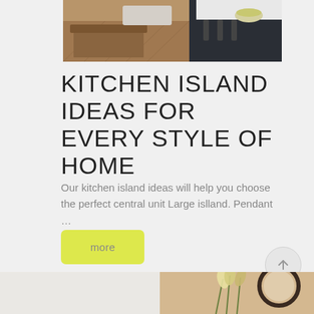[Figure (photo): Kitchen interior photo showing a wooden dining table with benches, dark kitchen island with bar stools, and a white bowl on the counter]
KITCHEN ISLAND IDEAS FOR EVERY STYLE OF HOME
Our kitchen island ideas will help you choose the perfect central unit Large islland. Pendant …
more
[Figure (photo): Bottom partial images: left side blank/light, right side showing flowers and a round mirror]